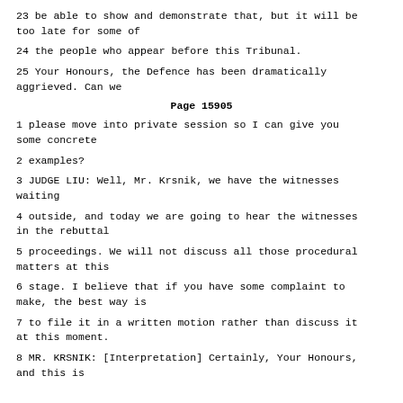23 be able to show and demonstrate that, but it will be too late for some of
24 the people who appear before this Tribunal.
25 Your Honours, the Defence has been dramatically aggrieved. Can we
Page 15905
1 please move into private session so I can give you some concrete
2 examples?
3 JUDGE LIU: Well, Mr. Krsnik, we have the witnesses waiting
4 outside, and today we are going to hear the witnesses in the rebuttal
5 proceedings. We will not discuss all those procedural matters at this
6 stage. I believe that if you have some complaint to make, the best way is
7 to file it in a written motion rather than discuss it at this moment.
8 MR. KRSNIK: [Interpretation] Certainly, Your Honours, and this is